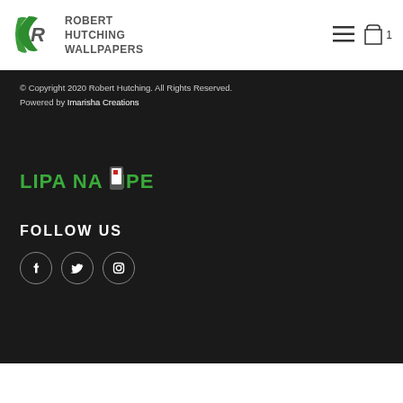[Figure (logo): Robert Hutching Wallpapers logo with green stylized R/C letter mark and brand name text]
Robert Hutching Wallpapers — navigation header with hamburger menu and cart icon (1 item)
© Copyright 2020 Robert Hutching. All Rights Reserved. Powered by Imarisha Creations
[Figure (logo): Lipa Na M-Pesa logo with green text and mobile phone graphic]
FOLLOW US
[Figure (infographic): Social media icons: Facebook, Twitter, Instagram in circle borders on dark background]